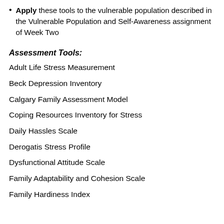Apply these tools to the vulnerable population described in the Vulnerable Population and Self-Awareness assignment of Week Two
Assessment Tools:
Adult Life Stress Measurement
Beck Depression Inventory
Calgary Family Assessment Model
Coping Resources Inventory for Stress
Daily Hassles Scale
Derogatis Stress Profile
Dysfunctional Attitude Scale
Family Adaptability and Cohesion Scale
Family Hardiness Index